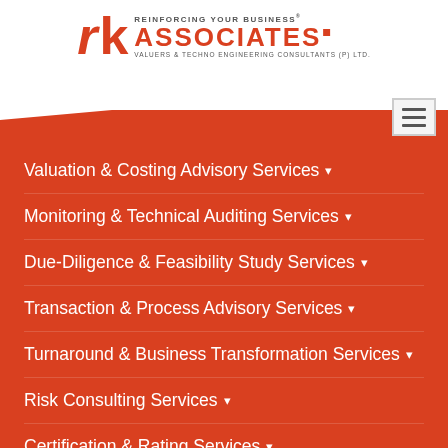[Figure (logo): RK Associates logo — Reinforcing Your Business, Valuers & Techno Engineering Consultants (P) Ltd.]
Valuation & Costing Advisory Services
Monitoring & Technical Auditing Services
Due-Diligence & Feasibility Study Services
Transaction & Process Advisory Services
Turnaround & Business Transformation Services
Risk Consulting Services
Certification & Rating Services